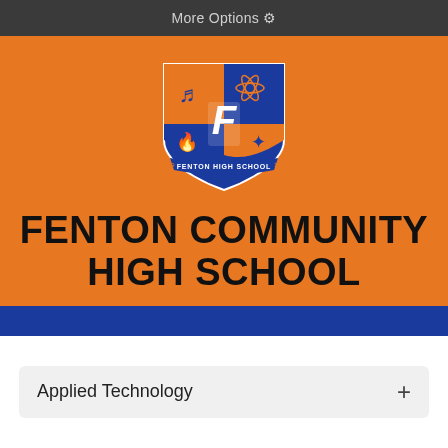More Options ⚙
[Figure (logo): Fenton High School shield crest logo with blue and orange quarters, letter F in center, flame and wing emblems, banner reading FENTON HIGH SCHOOL, years 19 and 17]
FENTON COMMUNITY HIGH SCHOOL
Applied Technology +